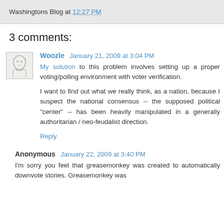Washingtons Blog at 12:27 PM
3 comments:
Woozle January 21, 2009 at 3:04 PM
My solution to this problem involves setting up a proper voting/polling environment with voter verification.

I want to find out what we really think, as a nation, because I suspect the national consensus -- the supposed political "center" -- has been heavily manipulated in a generally authoritarian / neo-feudalist direction.

Reply
Anonymous January 22, 2009 at 3:40 PM
I'm sorry you feel that greasemonkey was created to automatically downvote stories. Greasemonkey was